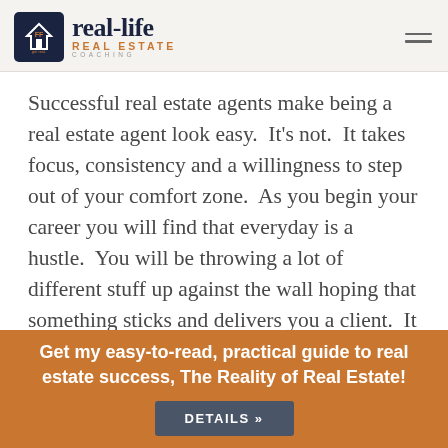real-life REAL ESTATE COACHING
Successful real estate agents make being a real estate agent look easy.  It's not.  It takes focus, consistency and a willingness to step out of your comfort zone.  As you begin your career you will find that everyday is a hustle.  You will be throwing a lot of different stuff up against the wall hoping that something sticks and delivers you a client.  It can take as long as six months to get a client, all while you are
Get my easy-to-read, practical guide to real estate success, The Reality of Real Estate!
DETAILS »